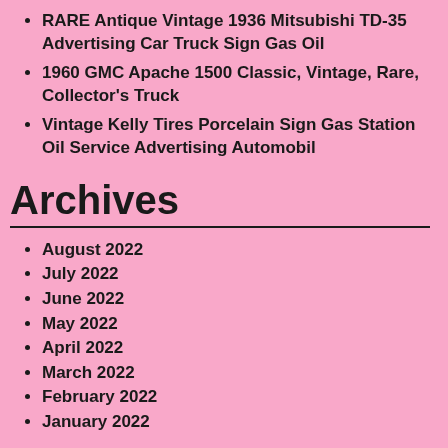RARE Antique Vintage 1936 Mitsubishi TD-35 Advertising Car Truck Sign Gas Oil
1960 GMC Apache 1500 Classic, Vintage, Rare, Collector's Truck
Vintage Kelly Tires Porcelain Sign Gas Station Oil Service Advertising Automobil
Archives
August 2022
July 2022
June 2022
May 2022
April 2022
March 2022
February 2022
January 2022